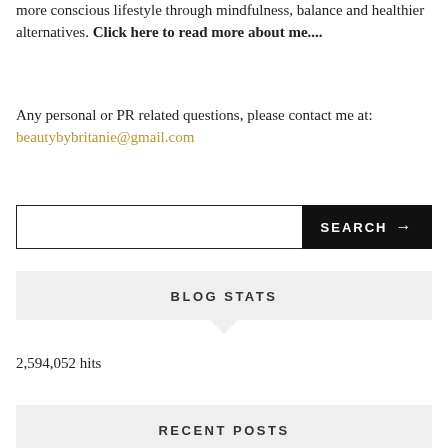more conscious lifestyle through mindfulness, balance and healthier alternatives. Click here to read more about me....
Any personal or PR related questions, please contact me at: beautybybritanie@gmail.com
[Figure (other): Search bar with text input field and black SEARCH button with arrow]
BLOG STATS
2,594,052 hits
RECENT POSTS